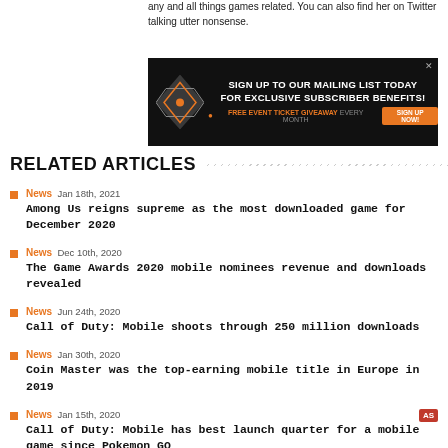any and all things games related. You can also find her on Twitter talking utter nonsense.
[Figure (infographic): Advertisement banner: SIGN UP TO OUR MAILING LIST TODAY FOR EXCLUSIVE SUBSCRIBER BENEFITS! FREE EVENT TICKET GIVEAWAY EVERY MONTH. SIGN UP NOW!]
RELATED ARTICLES
News Jan 18th, 2021 — Among Us reigns supreme as the most downloaded game for December 2020
News Dec 10th, 2020 — The Game Awards 2020 mobile nominees revenue and downloads revealed
News Jun 24th, 2020 — Call of Duty: Mobile shoots through 250 million downloads
News Jan 30th, 2020 — Coin Master was the top-earning mobile title in Europe in 2019
News Jan 15th, 2020 — Call of Duty: Mobile has best launch quarter for a mobile game since Pokemon GO